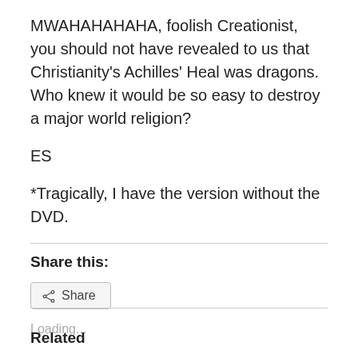MWAHAHAHAHA, foolish Creationist, you should not have revealed to us that Christianity’s Achilles’ Heal was dragons. Who knew it would be so easy to destroy a major world religion?
ES
*Tragically, I have the version without the DVD.
Share this:
Share
Loading...
Related